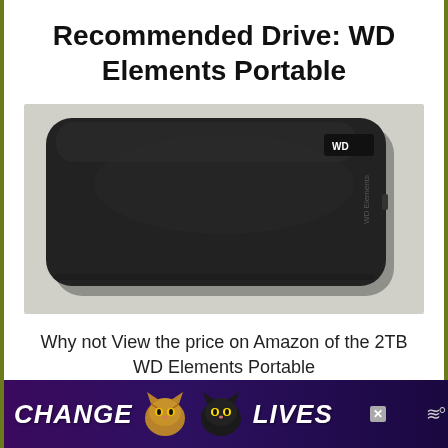Recommended Drive: WD Elements Portable
[Figure (photo): A black WD Elements Portable external hard drive with rounded corners, placed on a light surface. The WD logo and 'WD Elements' text are visible on the device.]
Why not View the price on Amazon of the 2TB WD Elements Portable
[Figure (other): Partially visible red rounded button (call-to-action button, text obscured)]
[Figure (other): Advertisement banner at the bottom: 'CHANGE LIVES' text with two cat images, on a purple/dark background with an X close button and wave icon on the right.]